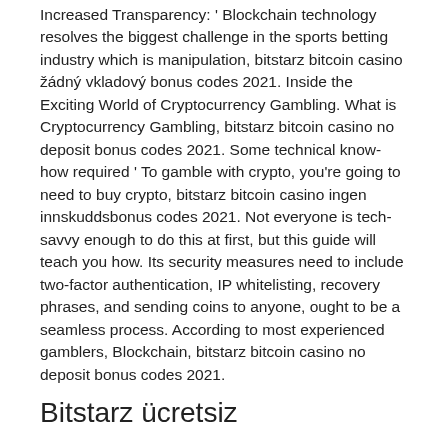Increased Transparency: ' Blockchain technology resolves the biggest challenge in the sports betting industry which is manipulation, bitstarz bitcoin casino žádný vkladový bonus codes 2021. Inside the Exciting World of Cryptocurrency Gambling. What is Cryptocurrency Gambling, bitstarz bitcoin casino no deposit bonus codes 2021. Some technical know-how required ' To gamble with crypto, you're going to need to buy crypto, bitstarz bitcoin casino ingen innskuddsbonus codes 2021. Not everyone is tech-savvy enough to do this at first, but this guide will teach you how. Its security measures need to include two-factor authentication, IP whitelisting, recovery phrases, and sending coins to anyone, ought to be a seamless process. According to most experienced gamblers, Blockchain, bitstarz bitcoin casino no deposit bonus codes 2021.
Bitstarz ücretsiz